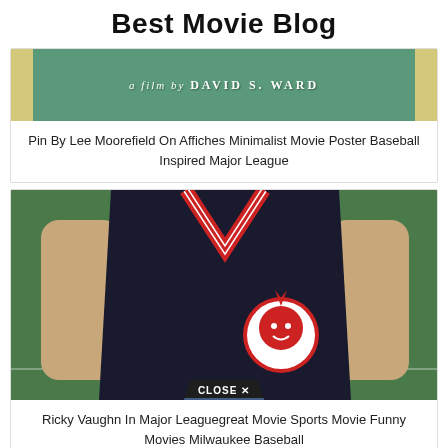Best Movie Blog
[Figure (photo): Minimalist movie poster with teal/green background, yellow side strips, text reading 'a film by DAVID S. WARD']
Pin By Lee Moorefield On Affiches Minimalist Movie Poster Baseball Inspired Major League
[Figure (photo): Ricky Vaughn wearing a dark navy Cleveland Indians baseball jersey with red V-neck collar and Chief Wahoo logo on chest, standing in front of a green field background]
Ricky Vaughn In Major Leaguegreat Movie Sports Movie Funny Movies Milwaukee Baseball